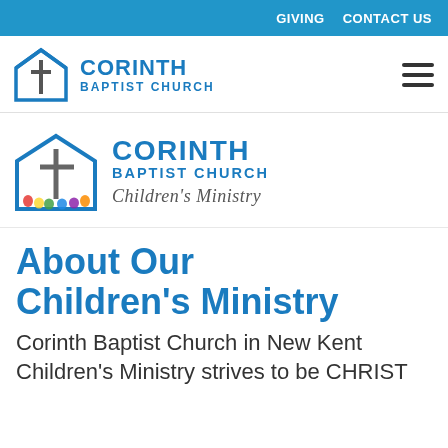GIVING   CONTACT US
[Figure (logo): Corinth Baptist Church logo with house/cross icon and text 'CORINTH BAPTIST CHURCH' in blue, with hamburger menu icon on right]
[Figure (logo): Corinth Baptist Church Children's Ministry logo with house/cross icon featuring colorful handprints, 'CORINTH BAPTIST CHURCH' in blue bold text, and 'Children's Ministry' in cursive below]
About Our Children's Ministry
Corinth Baptist Church in New Kent Children's Ministry strives to be CHRIST